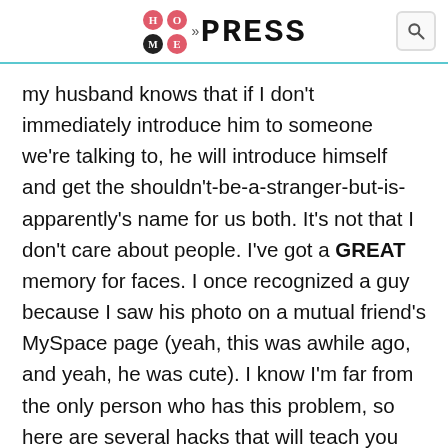HotMess PRESS
my husband knows that if I don't immediately introduce him to someone we're talking to, he will introduce himself and get the shouldn't-be-a-stranger-but-is-apparently's name for us both. It's not that I don't care about people. I've got a GREAT memory for faces. I once recognized a guy because I saw his photo on a mutual friend's MySpace page (yeah, this was awhile ago, and yeah, he was cute). I know I'm far from the only person who has this problem, so here are several hacks that will teach you how to remember someone's